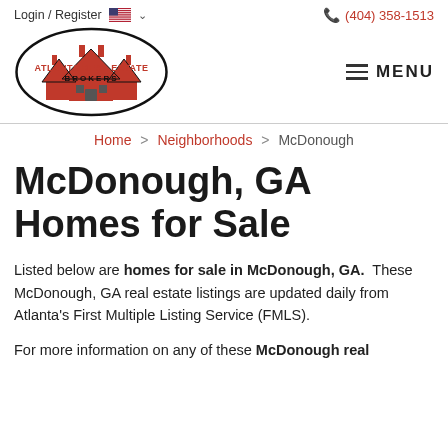Login / Register   (404) 358-1513
[Figure (logo): Atlanta Real Estate Brokers logo: oval with house silhouettes in red and black, text 'ATLANTA REAL ESTATE BROKERS']
MENU
Home > Neighborhoods > McDonough
McDonough, GA Homes for Sale
Listed below are homes for sale in McDonough, GA.  These McDonough, GA real estate listings are updated daily from Atlanta's First Multiple Listing Service (FMLS).
For more information on any of these McDonough real